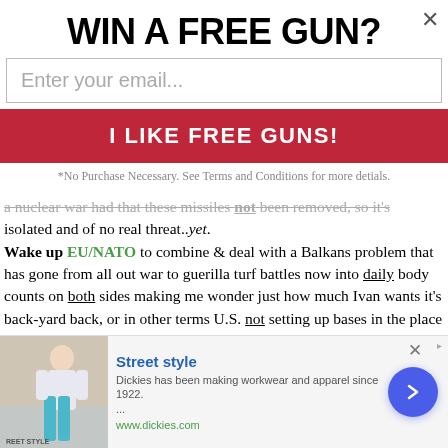WIN A FREE GUN?
Enter your email...
I LIKE FREE GUNS!
*No Purchase Necessary. See Terms and Conditions for more detials.
a nuclear war had that these missiles not been removed, so it's isolated and of no real threat..yet. Wake up EU/NATO to combine & deal with a Balkans problem that has gone from all out war to guerilla turf battles now into daily body counts on both sides making me wonder just how much Ivan wants it's back-yard back, or in other terms U.S. not setting up bases in the place which is as ready for true democracy as E-Germany was in 1970! Ivan has greater aims to push it right into the Black & Caspian Seas, traditional & ancient
[Figure (screenshot): Bottom advertisement banner for Dickies clothing brand with Street style text, model image, description and arrow button]